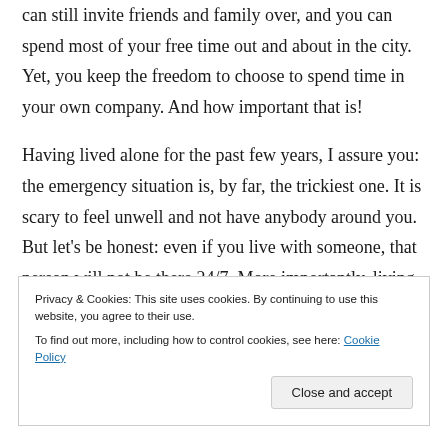can still invite friends and family over, and you can spend most of your free time out and about in the city. Yet, you keep the freedom to choose to spend time in your own company. And how important that is!
Having lived alone for the past few years, I assure you: the emergency situation is, by far, the trickiest one. It is scary to feel unwell and not have anybody around you. But let's be honest: even if you live with someone, that person will not be there 24/7. More importantly, living alone doesn't mean
Privacy & Cookies: This site uses cookies. By continuing to use this website, you agree to their use.
To find out more, including how to control cookies, see here: Cookie Policy
Close and accept